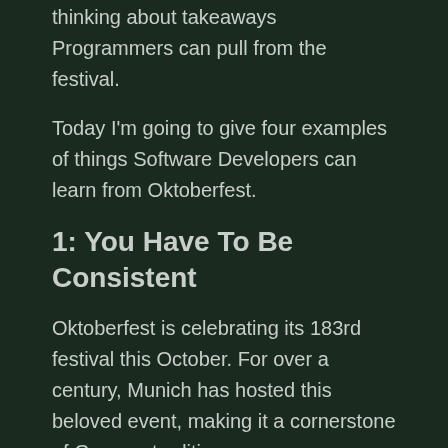thinking about takeaways Programmers can pull from the festival.
Today I'm going to give four examples of things Software Developers can learn from Oktoberfest.
1: You Have To Be Consistent
Oktoberfest is celebrating its 183rd festival this October. For over a century, Munich has hosted this beloved event, making it a cornerstone of German tradition.
Follow suit and stay consistent with your estimates and coding output. You need to